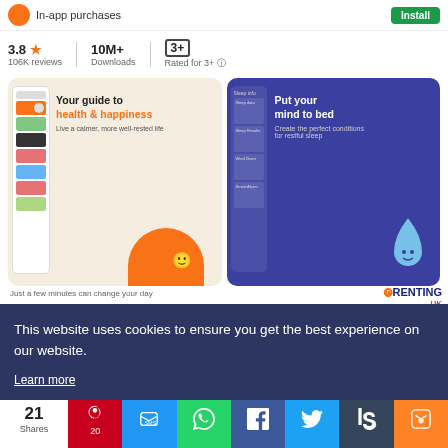[Figure (screenshot): App store listing top bar with orange icon, 'In-app purchases' text and green Install button]
3.8 ★  106K reviews  |  10M+  Downloads  |  3+  Rated for 3+
[Figure (screenshot): Two app screenshots: left shows 'Your guide to health & happiness - Live a calmer, more well-rested life' on beige background; right shows 'Put your mind to bed - Create the perfect conditions for restful sleep' on dark purple background]
Just a few minutes can change your day
[Figure (logo): Parenting UK logo in top right corner]
This website uses cookies to ensure you get the best experience on our website.
Learn more
21 Shares
[Figure (infographic): Social share bar with Pinterest (20), SMS, WhatsApp, Facebook, Twitter, Tumblr, Mix buttons]